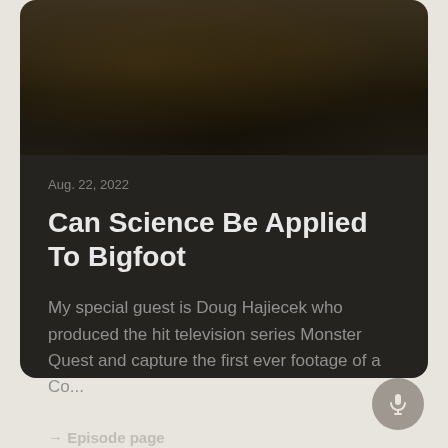[Figure (photo): Dark textured background image, likely fur or bark, dark brown tones at top of card]
Aug. 22, 2022
Can Science Be Applied To Bigfoot
My special guest is Doug Hajiecek who produced the hit television series Monster Quest and capture the first ever footage of a Co...
→ Episode page